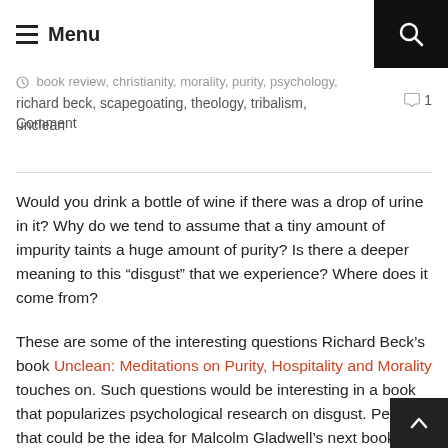Menu
book review, christianity, morality, purity, psychology, richard beck, scapegoating, theology, tribalism, unclean  1 Comment
Would you drink a bottle of wine if there was a drop of urine in it? Why do we tend to assume that a tiny amount of impurity taints a huge amount of purity? Is there a deeper meaning to this “disgust” that we experience? Where does it come from?
These are some of the interesting questions Richard Beck’s book Unclean: Meditations on Purity, Hospitality and Morality touches on. Such questions would be interesting in a book that popularizes psychological research on disgust. Perhaps that could be the idea for Malcolm Gladwell’s next book! But it i…